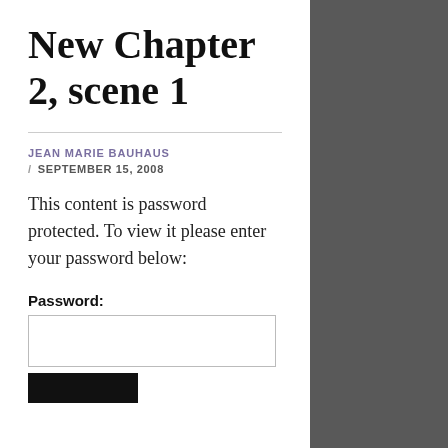New Chapter 2, scene 1
JEAN MARIE BAUHAUS
/ SEPTEMBER 15, 2008
This content is password protected. To view it please enter your password below:
Password: